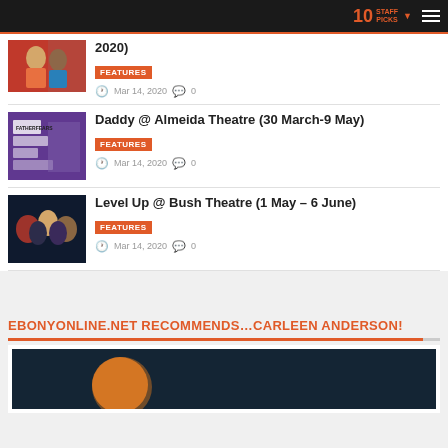10 STAFF PICKS
2020)
FEATURES | Mar 14, 2020 | 0 comments
Daddy @ Almeida Theatre (30 March-9 May)
FEATURES | Mar 14, 2020 | 0 comments
Level Up @ Bush Theatre (1 May – 6 June)
FEATURES | Mar 14, 2020 | 0 comments
EBONYONLINE.NET RECOMMENDS…CARLEEN ANDERSON!